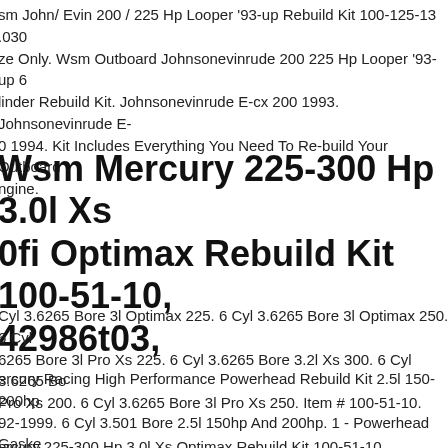sm John/ Evin 200 / 225 Hp Looper '93-up Rebuild Kit 100-125-13 .030 ze Only. Wsm Outboard Johnsonevinrude 200 225 Hp Looper '93-up 6 linder Rebuild Kit. Johnsonevinrude E-cx 200 1993. Johnsonevinrude E- 0 1994. Kit Includes Everything You Need To Re-build Your Outboard ngine.
Wsm Mercury 225-300 Hp 3.0l Xs 0fi Optimax Rebuild Kit 100-51-10, 42986t03,
Cyl 3.6265 Bore 3l Optimax 225. 6 Cyl 3.6265 Bore 3l Optimax 250. 6 Cyl 6265 Bore 3l Pro Xs 225. 6 Cyl 3.6265 Bore 3.2l Xs 300. 6 Cyl 3.6265 Bo Pro Xs 200. 6 Cyl 3.6265 Bore 3l Pro Xs 250. Item # 100-51-10.
ercury Racing High Performance Powerhead Rebuild Kit 2.5l 150-200hp 92-1999. 6 Cyl 3.501 Bore 2.5l 150hp And 200hp. 1 - Powerhead Gaske et Including High Performance Thinner Head Gaskets. This Kit Adds 25-3 p Depending On Fuel Used And If The Exhaust Chest Has Been Cleaned
ercury 225-300 Hp 3.0l Xs Optimax Rebuild Kit 100-51-10, 842986t03 Ste